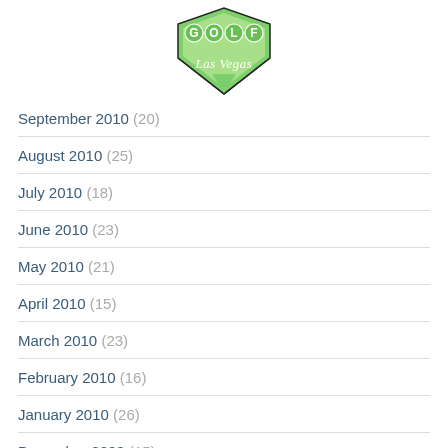[Figure (logo): Golf Las Vegas logo — green diamond shape with GOLF lettering and 'Las Vegas' script below]
September 2010 (20)
August 2010 (25)
July 2010 (18)
June 2010 (23)
May 2010 (21)
April 2010 (15)
March 2010 (23)
February 2010 (16)
January 2010 (26)
December 2009 (15)